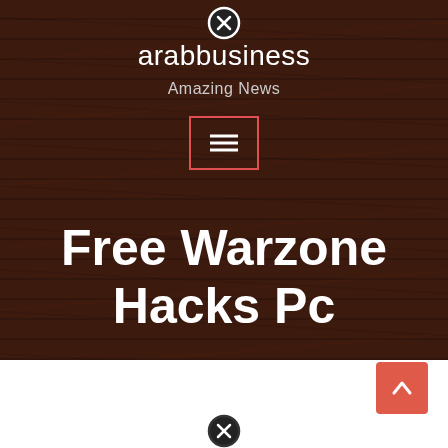[Figure (screenshot): Wood-textured dark brown background covering the top portion of the page]
arabbusiness
Amazing News
[Figure (other): Hamburger menu button with red/salmon border]
Free Warzone Hacks Pc
[Figure (other): Scroll-to-top button with salmon/red background and upward arrow]
[Figure (other): Close/X circle icon at the top of the page]
[Figure (other): Close/X circle icon at the bottom of the page in the white area]